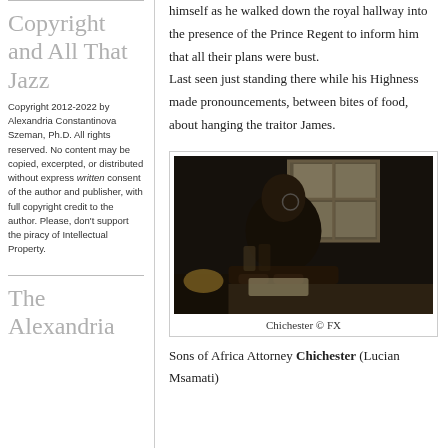himself as he walked down the royal hallway into the presence of the Prince Regent to inform him that all their plans were bust. Last seen just standing there while his Highness made pronouncements, between bites of food, about hanging the traitor James.
Copyright and All That Jazz
Copyright 2012-2022 by Alexandria Constantinova Szeman, Ph.D. All rights reserved. No content may be copied, excerpted, or distributed without express written consent of the author and publisher, with full copyright credit to the author. Please, don't support the piracy of Intellectual Property.
[Figure (photo): A dark photograph of a Black man (Chichester) sitting at a table, wearing period clothing, with a window in the background. Caption reads: Chichester © FX]
Chichester © FX
Sons of Africa Attorney Chichester (Lucian Msamati)
The Alexandria